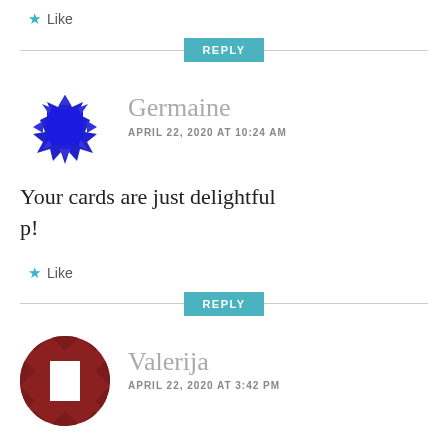★ Like
REPLY
[Figure (illustration): Blue geometric starburst avatar icon for user Germaine]
Germaine
APRIL 22, 2020 AT 10:24 AM
Your cards are just delightful p!
★ Like
REPLY
[Figure (illustration): Dark red geometric pattern avatar icon for user Valerija]
Valerija
APRIL 22, 2020 AT 3:42 PM